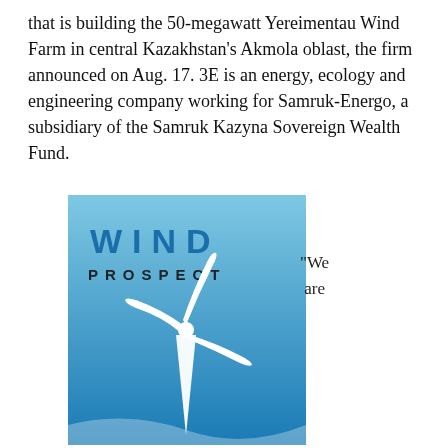that is building the 50-megawatt Yereimentau Wind Farm in central Kazakhstan's Akmola oblast, the firm announced on Aug. 17. 3E is an energy, ecology and engineering company working for Samruk-Energo, a subsidiary of the Samruk Kazyna Sovereign Wealth Fund.
[Figure (logo): Wind Prospect company logo: blue gradient rectangle with white wind turbine silhouette, 'WIND' in large blue spaced letters and 'PROSPECT' in smaller dark spaced letters below]
"We are